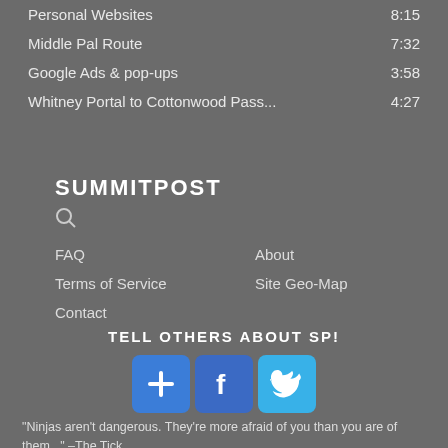Personal Websites   8:15
Middle Pal Route   7:32
Google Ads & pop-ups   3:58
Whitney Portal to Cottonwood Pass...   4:27
SUMMITPOST
FAQ
Terms of Service
Contact
About
Site Geo-Map
TELL OTHERS ABOUT SP!
"Ninjas aren't dangerous. They're more afraid of you than you are of them..."  –The Tick
© 2006-2021 SummitPost.org. All Rights Reserved.